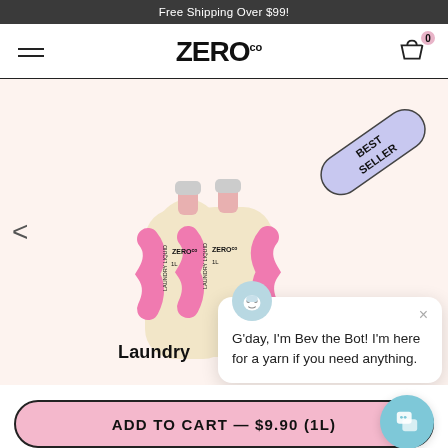Free Shipping Over $99!
[Figure (logo): ZEROco logo with hamburger menu and cart icon showing 0 items]
[Figure (photo): Two pink and cream Zero Co laundry liquid refill pouches on a light pink/peach background with a Best Seller badge in the top right corner]
Laundry
G'day, I'm Bev the Bot! I'm here for a yarn if you need anything.
ADD TO CART — $9.90 (1L)